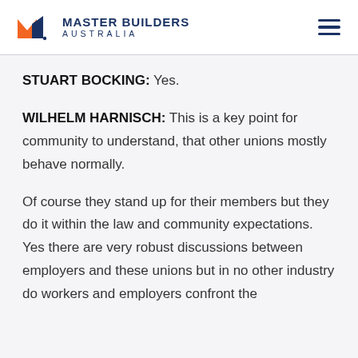MASTER BUILDERS AUSTRALIA
STUART BOCKING: Yes.
WILHELM HARNISCH: This is a key point for community to understand, that other unions mostly behave normally.
Of course they stand up for their members but they do it within the law and community expectations. Yes there are very robust discussions between employers and these unions but in no other industry do workers and employers confront the